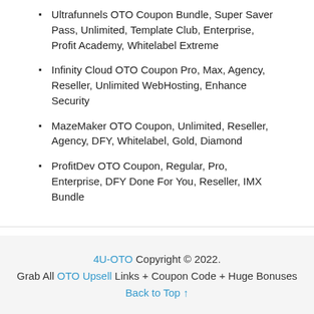Ultrafunnels OTO Coupon Bundle, Super Saver Pass, Unlimited, Template Club, Enterprise, Profit Academy, Whitelabel Extreme
Infinity Cloud OTO Coupon Pro, Max, Agency, Reseller, Unlimited WebHosting, Enhance Security
MazeMaker OTO Coupon, Unlimited, Reseller, Agency, DFY, Whitelabel, Gold, Diamond
ProfitDev OTO Coupon, Regular, Pro, Enterprise, DFY Done For You, Reseller, IMX Bundle
4U-OTO Copyright © 2022. Grab All OTO Upsell Links + Coupon Code + Huge Bonuses Back to Top ↑